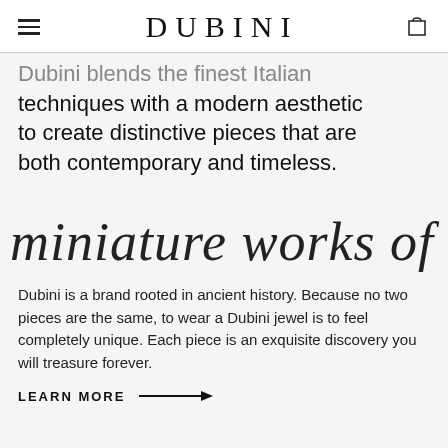DUBINI
Dubini blends the finest Italian techniques with a modern aesthetic to create distinctive pieces that are both contemporary and timeless.
[Figure (illustration): Handwritten script text reading 'miniature works of art' in cursive calligraphy style]
Dubini is a brand rooted in ancient history. Because no two pieces are the same, to wear a Dubini jewel is to feel completely unique. Each piece is an exquisite discovery you will treasure forever.
LEARN MORE →